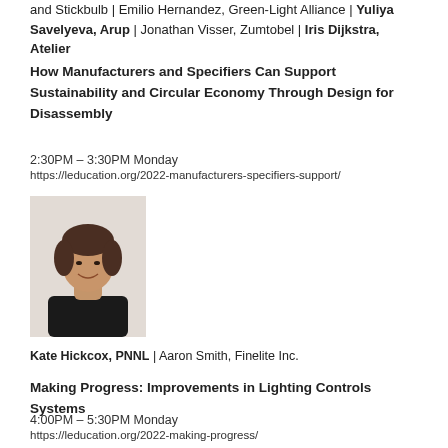and Stickbulb | Emilio Hernandez, Green-Light Alliance | Yuliya Savelyeva, Arup | Jonathan Visser, Zumtobel | Iris Dijkstra, Atelier
How Manufacturers and Specifiers Can Support Sustainability and Circular Economy Through Design for Disassembly
2:30PM – 3:30PM Monday
https://leducation.org/2022-manufacturers-specifiers-support/
[Figure (photo): Headshot of Kate Hickcox, a woman with short dark hair wearing a black top, smiling against a light background.]
Kate Hickcox, PNNL | Aaron Smith, Finelite Inc.
Making Progress: Improvements in Lighting Controls Systems
4:00PM – 5:30PM Monday
https://leducation.org/2022-making-progress/